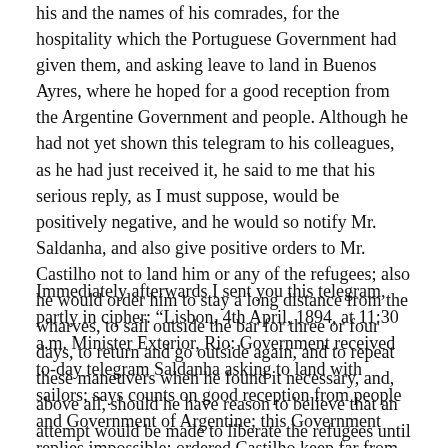his and the names of his comrades, for the hospitality which the Portuguese Government had given them, and asking leave to land in Buenos Ayres, where he hoped for a good reception from the Argentine Government and people. Although he had not yet shown this telegram to his colleagues, as he had just received it, he said to me that his serious reply, as I must suppose, would be positively negative, and he would so notify Mr. Saldanha, and also give positive orders to Mr. Castilho not to land him or any of the refugees; also he would order him to stay a long distance from the wharves, to sail outside the bar for three or four days, to return and go outside again, and to repeat these maneuvers when he found it necessary, and, above all, should he have reason to believe that an attempt would be made to liberate the refugees until they could be removed to this kingdom.
Immediately afterwards I sent you this telegram, partly in cipher: "Lisbon, 4th April, 1894, at 11:30 a.m. Minister Exterior, Rio: Government received to-day telegram Saldanha asking to land with sailors; says counts on good reception from people and Government of Argentine; this Government replies impossible; ordered Castilho keep far from wharves, and in case of any attempt to liberate sailors on the bar from the anti-royalists